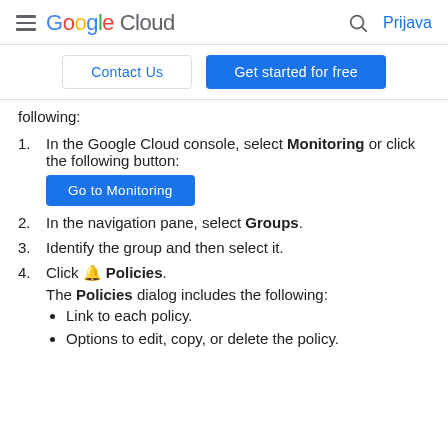Google Cloud — Prijava
[Figure (screenshot): Navigation bar with Contact Us and Get started for free buttons]
following:
In the Google Cloud console, select Monitoring or click the following button: [Go to Monitoring button]
In the navigation pane, select Groups.
Identify the group and then select it.
Click [bell icon] Policies. The Policies dialog includes the following:
Link to each policy.
Options to edit, copy, or delete the policy.